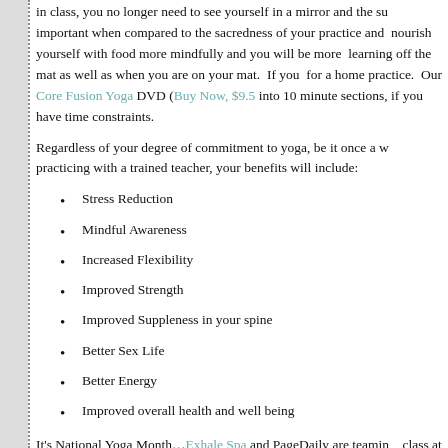in class, you no longer need to see yourself in a mirror and the su... important when compared to the sacredness of your practice and ... nourish yourself with food more mindfully and you will be more ... learning off the mat as well as when you are on your mat.  If you ... for a home practice.  Our Core Fusion Yoga DVD (Buy Now, $9.5... into 10 minute sections, if you have time constraints.
Regardless of your degree of commitment to yoga, be it once a w... practicing with a trained teacher, your benefits will include:
Stress Reduction
Mindful Awareness
Increased Flexibility
Improved Strength
Improved Suppleness in your spine
Better Sex Life
Better Energy
Improved overall health and well being
It's National Yoga Month…Exhale Spa and PageDaily are teamin... class at any Exhale Spa for the rest of September (first-timers onl... your reservation! Enjoy!